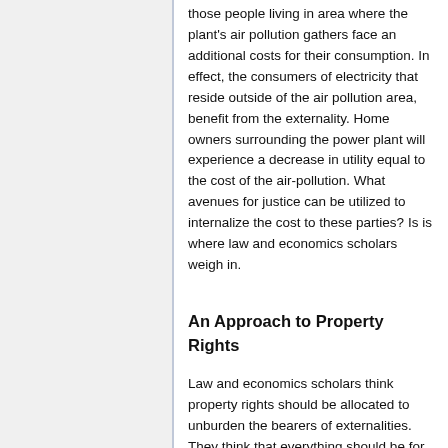those people living in area where the plant's air pollution gathers face an additional costs for their consumption. In effect, the consumers of electricity that reside outside of the air pollution area, benefit from the externality. Home owners surrounding the power plant will experience a decrease in utility equal to the cost of the air-pollution. What avenues for justice can be utilized to internalize the cost to these parties? Is is where law and economics scholars weigh in.
An Approach to Property Rights
Law and economics scholars think property rights should be allocated to unburden the bearers of externalities. They think that everything should be for